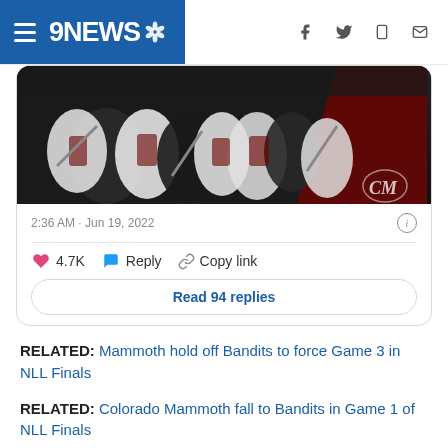9NEWS
[Figure (screenshot): Embedded tweet card showing lacrosse team photo (Colorado Mammoth players huddled together in dark jerseys), timestamp 2:36 AM · Jun 19, 2022, with 4.7K likes, Reply, Copy link actions, and 'Read 94 replies' button]
RELATED: Mammoth hold off Bandits to force Game 3 in NLL Finals
RELATED: Colorado Mammoth fall to Bandits in Game 1 of NLL Finals
SUGGESTED VIDEOS: Sports